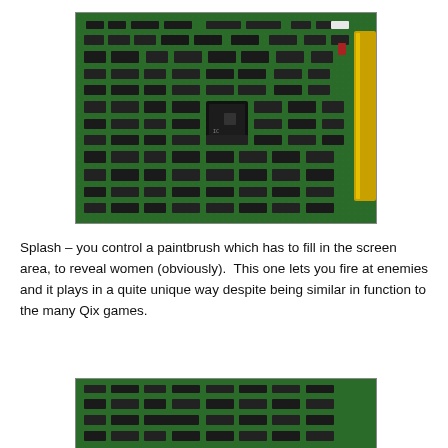[Figure (photo): A green printed circuit board (PCB) with numerous integrated circuit chips, memory chips, and other electronic components arranged in rows. The board appears to be from a vintage arcade game, with a gold-finger edge connector visible on the right side.]
Splash – you control a paintbrush which has to fill in the screen area, to reveal women (obviously).  This one lets you fire at enemies and it plays in a quite unique way despite being similar in function to the many Qix games.
[Figure (photo): A second green printed circuit board (PCB), partially visible at the bottom of the page, showing rows of chips and electronic components similar to the first board.]